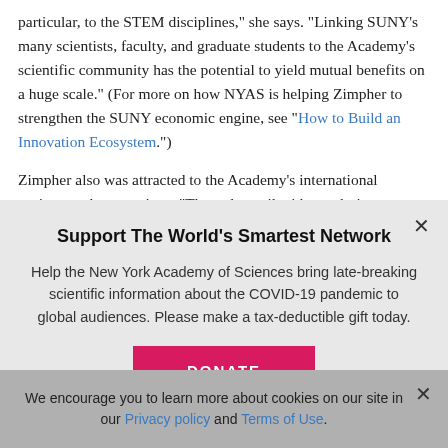particular, to the STEM disciplines," she says. "Linking SUNY's many scientists, faculty, and graduate students to the Academy's scientific community has the potential to yield mutual benefits on a huge scale." (For more on how NYAS is helping Zimpher to strengthen the SUNY economic engine, see "How to Build an Innovation Ecosystem.")
Zimpher also was attracted to the Academy's international projects and connections. "These dovetail with our desire to
Support The World's Smartest Network
Help the New York Academy of Sciences bring late-breaking scientific information about the COVID-19 pandemic to global audiences. Please make a tax-deductible gift today.
DONATE
We encourage you to learn more about cookies on our site in our Privacy policy and Terms of Use.